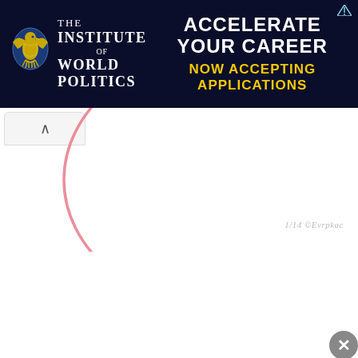[Figure (other): Advertisement banner for The Institute of World Politics. Dark navy background. Logo on left with eagle emblem and text 'THE INSTITUTE OF WORLD POLITICS'. Right side has white bold text 'ACCELERATE YOUR CAREER' and yellow bold text 'NOW ACCEPTING APPLICATIONS'. Small ad icon top right corner.]
[Figure (other): Partial pink semicircle arc visible at top of white content area, appearing to be part of a product or diagram partially shown. Navigation tab with chevron/caret up symbol on left side. Watermark text '1/14 © Evrpkac' visible in gray italic. Close button (X) in dark circle at bottom right.]